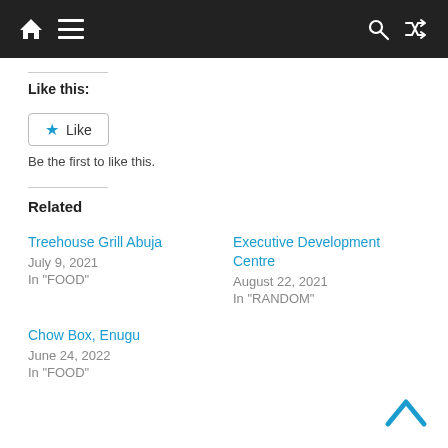Navigation bar with home, menu, search, and shuffle icons
Like this:
[Figure (other): Like button with star icon and text 'Like']
Be the first to like this.
Related
Treehouse Grill Abuja
July 9, 2021
In "FOOD"
Executive Development Centre
August 22, 2021
In "RANDOM"
Chow Box, Enugu
June 24, 2022
In "FOOD"